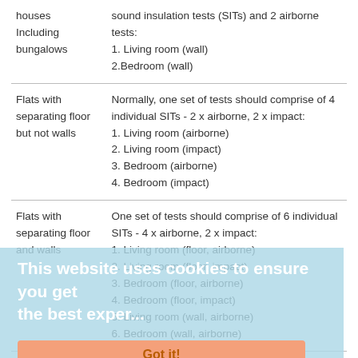| Building type | Test requirements |
| --- | --- |
| houses
Including bungalows | sound insulation tests (SITs) and 2 airborne tests:
1. Living room (wall)
2.Bedroom (wall) |
| Flats with separating floor but not walls | Normally, one set of tests should comprise of 4 individual SITs - 2 x airborne, 2 x impact:
1. Living room (airborne)
2. Living room (impact)
3. Bedroom (airborne)
4. Bedroom (impact) |
| Flats with separating floor and walls | One set of tests should comprise of 6 individual SITs - 4 x airborne, 2 x impact:
1. Living room (floor, airborne)
2. Living room (floor, impact)
3. Bedroom (floor, airborne)
4. Bedroom (floor, impact)
5. Living room (wall, airborne)
6. Bedroom (wall, airborne) |
| Rooms for residential purposes | To conduct a set of tests, the sound insulation between the main rooms should be measured according to the principals set out above for new buildings and material change of use, but |